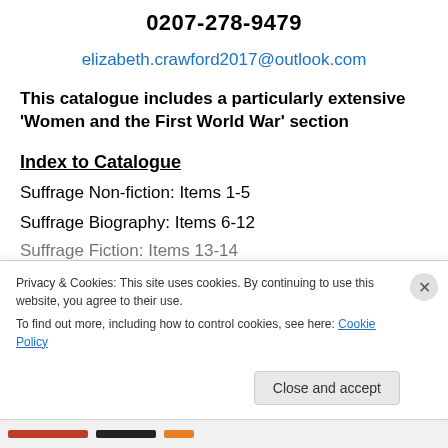0207-278-9479
elizabeth.crawford2017@outlook.com
This catalogue includes a particularly extensive 'Women and the First World War' section
Index to Catalogue
Suffrage Non-fiction: Items 1-5
Suffrage Biography: Items 6-12
Suffrage Fiction: Items 13-14
Privacy & Cookies: This site uses cookies. By continuing to use this website, you agree to their use. To find out more, including how to control cookies, see here: Cookie Policy